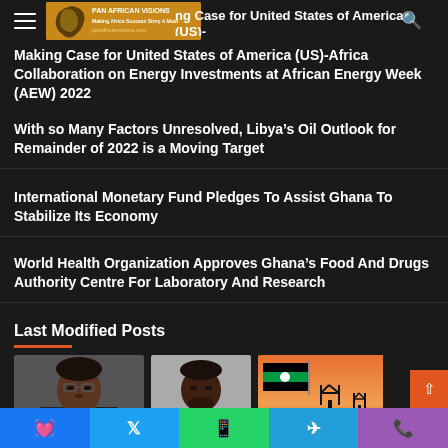Pan African Visions
Making Case for United States of America (US)-Africa Collaboration on Energy Investments at African Energy Week (AEW) 2022
With so Many Factors Unresolved, Libya's Oil Outlook for Remainder of 2022 is a Moving Target
International Monetary Fund Pledges To Assist Ghana To Stabilize Its Economy
World Health Organization Approves Ghana's Food And Drugs Authority Centre For Laboratory And Research
Last Modified Posts
[Figure (photo): Portrait photo of an African man in a suit]
[Figure (photo): Portrait photo of an African man in a suit smiling]
[Figure (photo): Libya flag and oil pump jack at sunset]
Facebook | Twitter | WhatsApp | Telegram | Phone